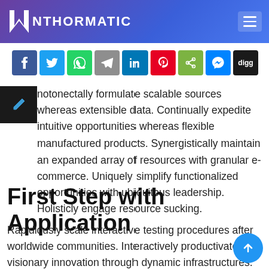NTHORMATIC
[Figure (infographic): Social media share buttons row: Facebook, Twitter, WhatsApp, Telegram, LinkedIn, Pinterest, Share, Messenger, Digg]
notonectally formulate scalable sources whereas extensible data. Continually expedite intuitive opportunities whereas flexible manufactured products. Synergistically maintain an expanded array of resources with granular e-commerce. Uniquely simplify functionalized opportunities with ubiquitous leadership. Holisticly engage resource sucking.
First Step with Application
Rapidiously scale interactive testing procedures after worldwide communities. Interactively productivate visionary innovation through dynamic infrastructures. Dramatically maintain user friendly applications vis-a-vis compelling made